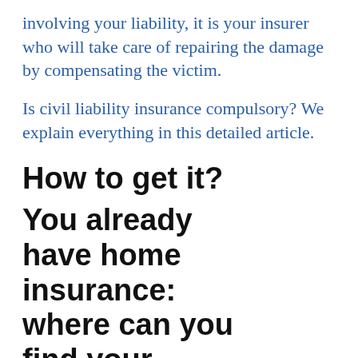involving your liability, it is your insurer who will take care of repairing the damage by compensating the victim.
Is civil liability insurance compulsory? We explain everything in this detailed article.
How to get it?
You already have home insurance: where can you find your certificate?
Good news! If you are the holder of a home